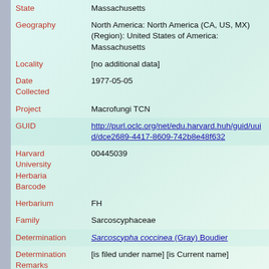| Field | Value |
| --- | --- |
| State | Massachusetts |
| Geography | North America: North America (CA, US, MX) (Region): United States of America: Massachusetts |
| Locality | [no additional data] |
| Date Collected | 1977-05-05 |
| Project | Macrofungi TCN |
| GUID | http://purl.oclc.org/net/edu.harvard.huh/guid/uuid/dce2689-4417-8609-742b8e48f632 |
| Harvard University Herbaria Barcode | 00445039 |
| Herbarium | FH |
| Family | Sarcoscyphaceae |
| Determination | Sarcoscypha coccinea (Gray) Boudier |
| Determination Remarks | [is filed under name] [is Current name] |
| Sex | not determined |
| Phenology | NotDetermined |
| Preparation Type | Packet |